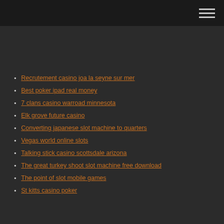Recrutement casino joa la seyne sur mer
Best poker ipad real money
7 clans casino warroad minnesota
Elk grove future casino
Converting japanese slot machine to quarters
Vegas world online slots
Talking stick casino scottsdale arizona
The great turkey shoot slot machine free download
The point of slot mobile games
St kitts casino poker